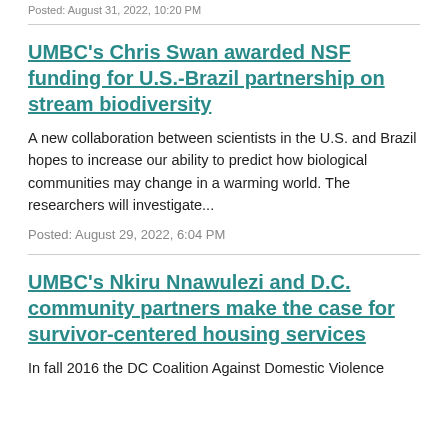Posted: August 31, 2022, 10:20 PM
UMBC's Chris Swan awarded NSF funding for U.S.-Brazil partnership on stream biodiversity
A new collaboration between scientists in the U.S. and Brazil hopes to increase our ability to predict how biological communities may change in a warming world. The researchers will investigate...
Posted: August 29, 2022, 6:04 PM
UMBC's Nkiru Nnawulezi and D.C. community partners make the case for survivor-centered housing services
In fall 2016 the DC Coalition Against Domestic Violence